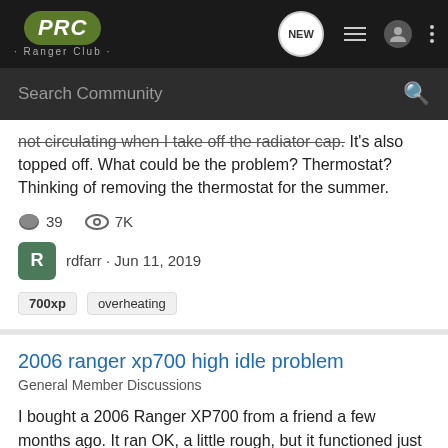PRC Ranger Club - navigation bar with NEW, list, user, and menu icons
Search Community
not circulating when I take off the radiator cap. It's also topped off. What could be the problem? Thermostat? Thinking of removing the thermostat for the summer.
39 comments, 7K views, rdfarr · Jun 11, 2019, tags: 700xp, overheating
2006 ranger xp700 high idle problem
General Member Discussions
I bought a 2006 Ranger XP700 from a friend a few months ago. It ran OK, a little rough, but it functioned just fine. When I got it, I did everything I thought you should do: replace the filters, fluids and spark plugs. While I was doing that, I noticed and noticed the throttle body injector...